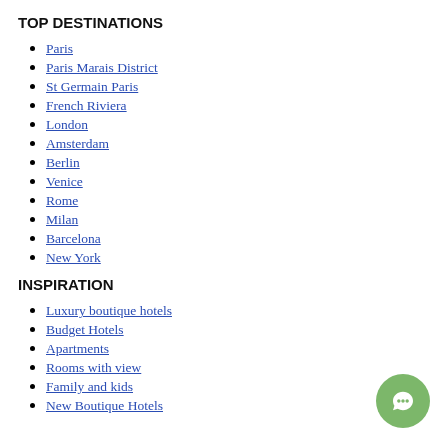TOP DESTINATIONS
Paris
Paris Marais District
St Germain Paris
French Riviera
London
Amsterdam
Berlin
Venice
Rome
Milan
Barcelona
New York
INSPIRATION
Luxury boutique hotels
Budget Hotels
Apartments
Rooms with view
Family and kids
New Boutique Hotels